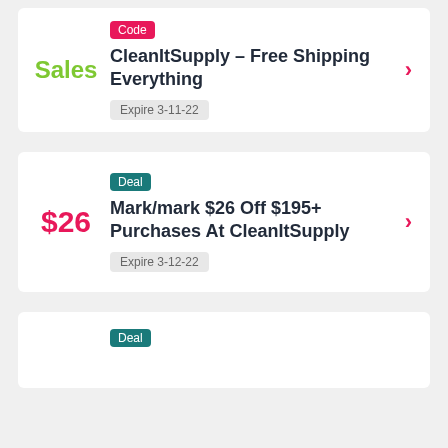Code | Sales | CleanItSupply – Free Shipping Everything | Expire 3-11-22
Deal | $26 | Mark/mark $26 Off $195+ Purchases At CleanItSupply | Expire 3-12-22
Deal | (partial, cut off)